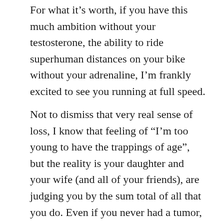For what it's worth, if you have this much ambition without your testosterone, the ability to ride superhuman distances on your bike without your adrenaline, I'm frankly excited to see you running at full speed.
Not to dismiss that very real sense of loss, I know that feeling of “I’m too young to have the trappings of age”, but the reality is your daughter and your wife (and all of your friends), are judging you by the sum total of all that you do. Even if you never had a tumor, even if you never had any health issues at all, you’re still gonna have bad weekends. And it’s okay. That’s not a shortcoming of yours, or something unique to this lump in your head. It’s just an obstacle of the sort you’ve overcome all your life.